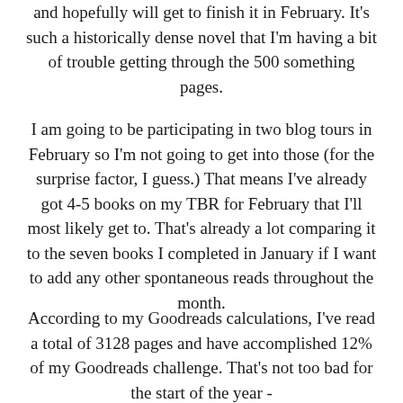and hopefully will get to finish it in February. It's such a historically dense novel that I'm having a bit of trouble getting through the 500 something pages.
I am going to be participating in two blog tours in February so I'm not going to get into those (for the surprise factor, I guess.) That means I've already got 4-5 books on my TBR for February that I'll most likely get to. That's already a lot comparing it to the seven books I completed in January if I want to add any other spontaneous reads throughout the month.
According to my Goodreads calculations, I've read a total of 3128 pages and have accomplished 12% of my Goodreads challenge. That's not too bad for the start of the year -